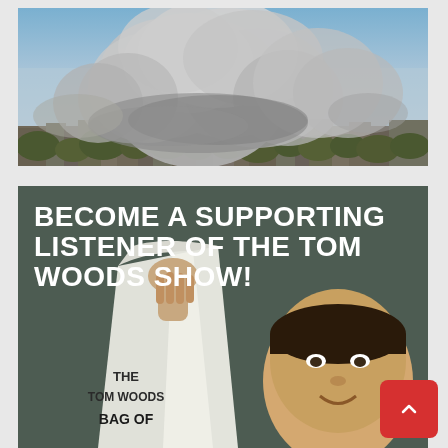[Figure (photo): Aerial/distant photograph of large explosion smoke clouds billowing over a city skyline, with trees visible in the foreground. Sky is blue/grey.]
[Figure (infographic): Advertisement banner with dark olive/teal background reading 'BECOME A SUPPORTING LISTENER OF THE TOM WOODS SHOW!' in large bold white uppercase text. Below the text is an image of a man holding up a white paper bag labeled 'THE TOM WOODS BAG OF'. A red square scroll-to-top button with an up chevron appears in the bottom-right corner.]